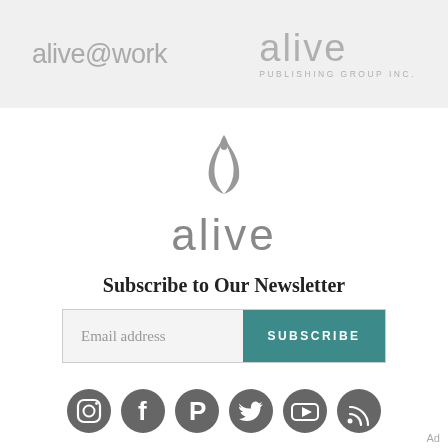[Figure (logo): alive@work logo and alive Publishing Group Inc. logo in header bar]
[Figure (logo): alive brand logo with leaf/flame icon above the word 'alive' in grey]
Subscribe to Our Newsletter
[Figure (infographic): Email subscription form with 'Email address' input field and 'SUBSCRIBE' button]
[Figure (infographic): Row of social media icons: Instagram, Facebook, Pinterest, Twitter, YouTube, RSS]
Ad